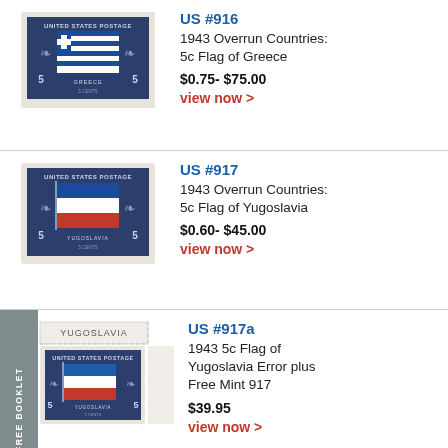[Figure (illustration): US postage stamp #916, 1943 Overrun Countries 5c Flag of Greece, dark blue stamp with flags and eagle motif]
US #916
1943 Overrun Countries: 5c Flag of Greece
$0.75- $75.00
view now >
[Figure (illustration): US postage stamp #917, 1943 Overrun Countries 5c Flag of Yugoslavia, dark blue stamp with Yugoslav flag]
US #917
1943 Overrun Countries: 5c Flag of Yugoslavia
$0.60- $45.00
view now >
[Figure (illustration): US postage stamp #917a, 1943 5c Flag of Yugoslavia Error plus Free Mint 917, shown with YUGOSLAVIA label at top and perforated margin]
US #917a
1943 5c Flag of Yugoslavia Error plus Free Mint 917
$39.95
view now >